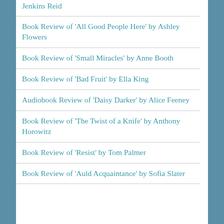Jenkins Reid
Book Review of 'All Good People Here' by Ashley Flowers
Book Review of 'Small Miracles' by Anne Booth
Book Review of 'Bad Fruit' by Ella King
Audiobook Review of 'Daisy Darker' by Alice Feeney
Book Review of 'The Twist of a Knife' by Anthony Horowitz
Book Review of 'Resist' by Tom Palmer
Book Review of 'Auld Acquaintance' by Sofia Slater